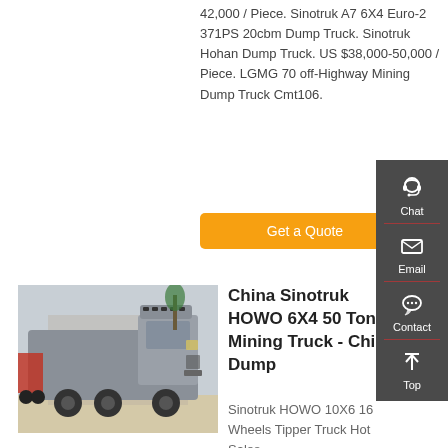42,000 / Piece. Sinotruk A7 6X4 Euro-2 371PS 20cbm Dump Truck. Sinotruk Hohan Dump Truck. US $38,000-50,000 / Piece. LGMG 70 off-Highway Mining Dump Truck Cmt106.
[Figure (other): Orange 'Get a Quote' button]
[Figure (photo): Silver Sinotruk HOWO 6X4 truck parked in a yard]
China Sinotruk HOWO 6X4 50 Ton Mining Truck - China Dump
Sinotruk HOWO 10X6 16 Wheels Tipper Truck Hot Sales.
[Figure (other): Right sidebar with Chat, Email, Contact, Top navigation icons on dark grey background]